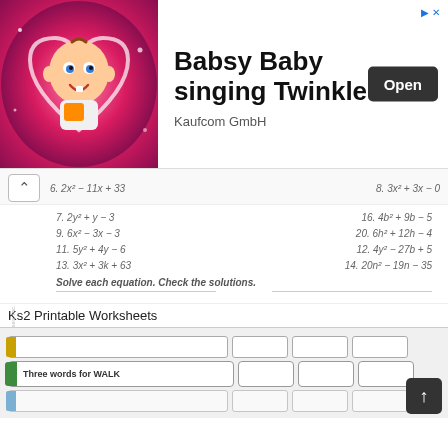[Figure (illustration): Advertisement banner with animated baby character on pink heart background. Text reads 'Babsy Baby singing Twinkle' with 'Open' button and 'Kaufcom GmbH' label.]
6. 2x² − 11x + 33
8. 3x² + 3x − 0
7. 2y² + y − 3
16. 4b² + 9b − 5
9. 6x² − 3x − 3
20. 6h² + 12h − 4
11. 5y² + 4y − 6
12. 4y² − 27b + 5
13. 3x² + 3k + 63
14. 20n² − 19n − 35
Solve each equation. Check the solutions.
Ks2 Printable Worksheets
[Figure (screenshot): Partial view of a printable worksheet with input boxes. One row shows 'Three words for WALK' with boxes next to it.]